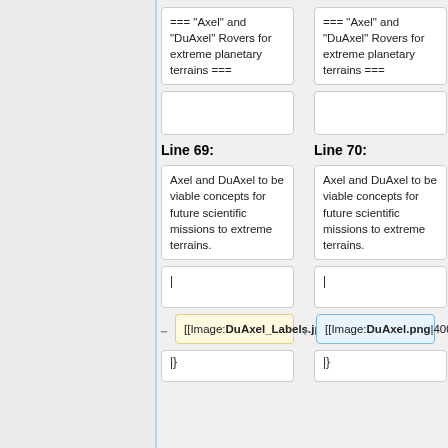=== "Axel" and "DuAxel" Rovers for extreme planetary terrains ===
=== "Axel" and "DuAxel" Rovers for extreme planetary terrains ===
Line 69:
Line 70:
Axel and DuAxel to be viable concepts for future scientific missions to extreme terrains.
Axel and DuAxel to be viable concepts for future scientific missions to extreme terrains.
|
|
[[Image:DuAxel_Labels.jpg|400px]]
[[Image:DuAxel.png|400px]]
|}
|}